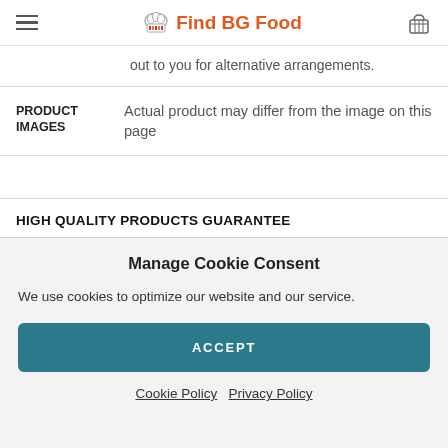Find BG Food
out to you for alternative arrangements.
PRODUCT IMAGES
Actual product may differ from the image on this page
HIGH QUALITY PRODUCTS GUARANTEE
Manage Cookie Consent
We use cookies to optimize our website and our service.
ACCEPT
Cookie Policy   Privacy Policy